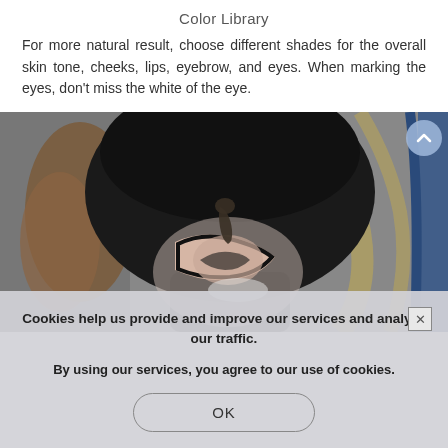Color Library
For more natural result, choose different shades for the overall skin tone, cheeks, lips, eyebrow, and eyes. When marking the eyes, don't miss the white of the eye.
[Figure (illustration): A digital drawing/illustration of a face with make-up color regions marked in different shades: brown, pink/peach shapes on a dark background. A scroll-up arrow button overlays the top right.]
Cookies help us provide and improve our services and analyze our traffic.
By using our services, you agree to our use of cookies.
OK